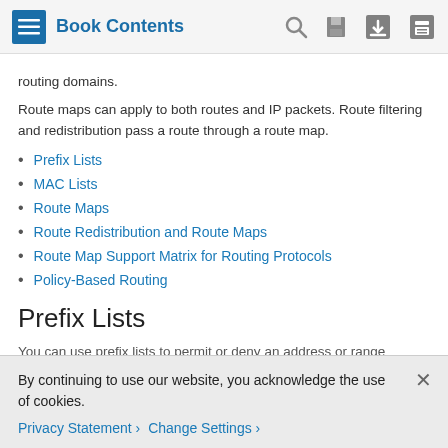Book Contents
routing domains.
Route maps can apply to both routes and IP packets. Route filtering and redistribution pass a route through a route map.
Prefix Lists
MAC Lists
Route Maps
Route Redistribution and Route Maps
Route Map Support Matrix for Routing Protocols
Policy-Based Routing
Prefix Lists
You can use prefix lists to permit or deny an address or range
By continuing to use our website, you acknowledge the use of cookies.
Privacy Statement   Change Settings